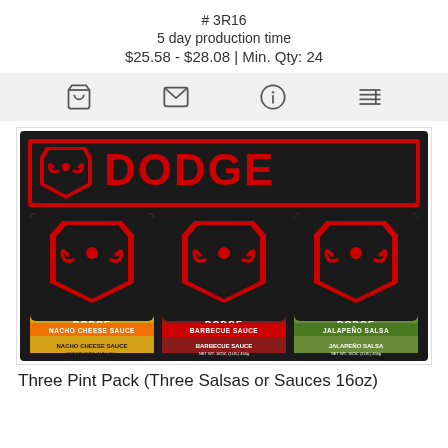# 3R16
5 day production time
$25.58 - $28.08 | Min. Qty: 24
[Figure (screenshot): Icon bar with shopping cart, envelope, info, and list icons on a light gray background]
[Figure (photo): Dodge branded three pint pack with Nacho Cheese Sauce, Barbecue Sauce, and Jalapeño Salsa jars in a black gift box with red Dodge logo header]
Three Pint Pack (Three Salsas or Sauces 16oz)